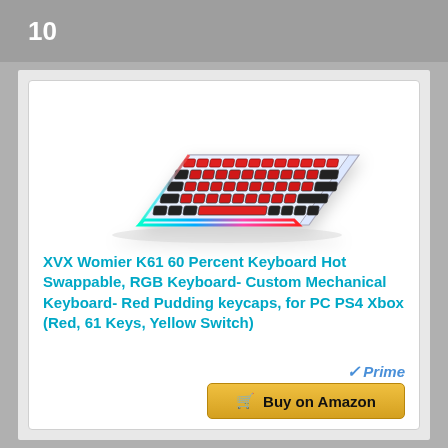10
[Figure (photo): XVX Womier K61 60 Percent Keyboard with red pudding keycaps and RGB lighting, shown at an angle]
XVX Womier K61 60 Percent Keyboard Hot Swappable, RGB Keyboard- Custom Mechanical Keyboard- Red Pudding keycaps, for PC PS4 Xbox (Red, 61 Keys, Yellow Switch)
Prime
Buy on Amazon